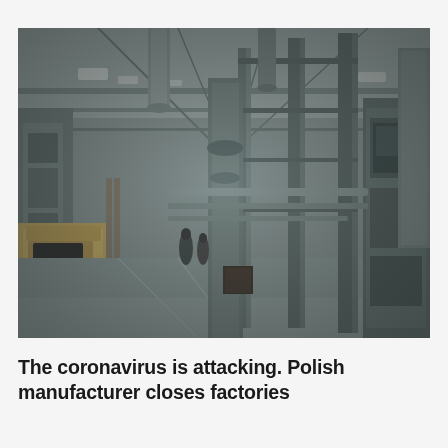[Figure (photo): Black and white / desaturated photo of a large industrial factory floor with heavy machinery, pipes, ventilation ducts, metal frameworks, a forklift in the left foreground, workers visible in the middle distance, and high ceiling with industrial lighting.]
The coronavirus is attacking. Polish manufacturer closes factories